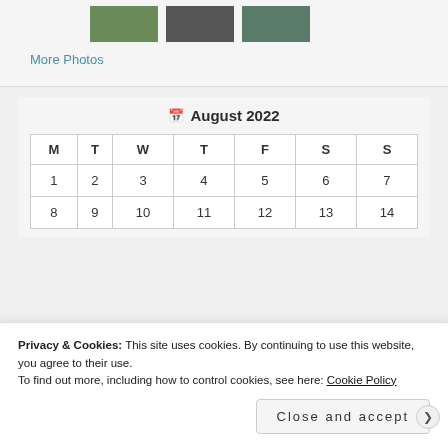[Figure (photo): Three thumbnail nature photos showing trees/foliage]
More Photos
| M | T | W | T | F | S | S |
| --- | --- | --- | --- | --- | --- | --- |
| 1 | 2 | 3 | 4 | 5 | 6 | 7 |
| 8 | 9 | 10 | 11 | 12 | 13 | 14 |
Privacy & Cookies: This site uses cookies. By continuing to use this website, you agree to their use.
To find out more, including how to control cookies, see here: Cookie Policy
Close and accept